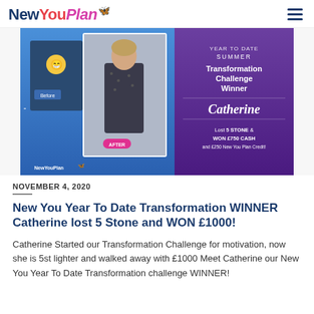New You Plan
[Figure (photo): New You Plan Year To Date Summer Transformation Challenge Winner promotional banner. Shows before and after photos of Catherine, with text: YEAR TO DATE SUMMER Transformation Challenge Winner Catherine Lost 5 STONE & WON £750 CASH and £250 New You Plan Credit!]
NOVEMBER 4, 2020
New You Year To Date Transformation WINNER Catherine lost 5 Stone and WON £1000!
Catherine Started our Transformation Challenge for motivation, now she is 5st lighter and walked away with £1000 Meet Catherine our New You Year To Date Transformation challenge WINNER!